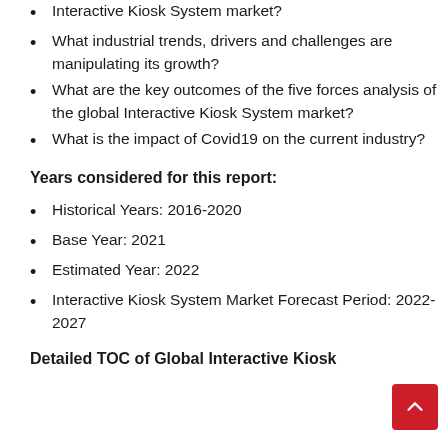Interactive Kiosk System market?
What industrial trends, drivers and challenges are manipulating its growth?
What are the key outcomes of the five forces analysis of the global Interactive Kiosk System market?
What is the impact of Covid19 on the current industry?
Years considered for this report:
Historical Years: 2016-2020
Base Year: 2021
Estimated Year: 2022
Interactive Kiosk System Market Forecast Period: 2022-2027
Detailed TOC of Global Interactive Kiosk